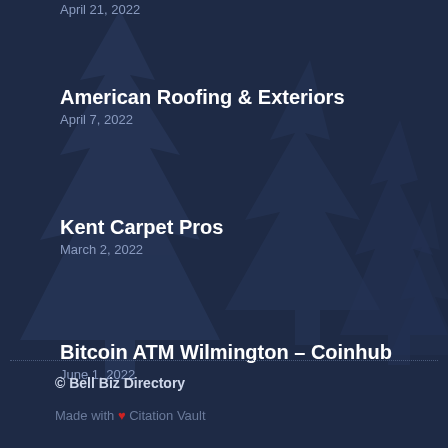American Roofing & Exteriors
April 7, 2022
Kent Carpet Pros
March 2, 2022
Bitcoin ATM Wilmington – Coinhub
June 1, 2022
© Bell Biz Directory
Made with ♥ Citation Vault